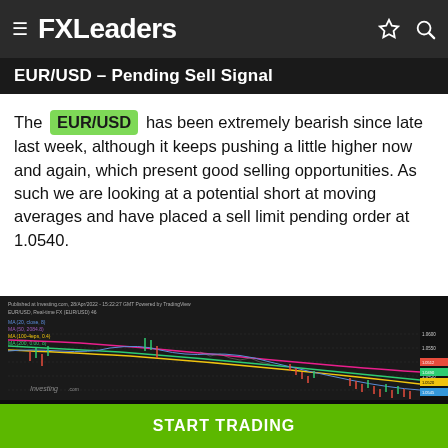FXLeaders
EUR/USD – Pending Sell Signal
The EUR/USD has been extremely bearish since late last week, although it keeps pushing a little higher now and again, which present good selling opportunities. As such we are looking at a potential short at moving averages and have placed a sell limit pending order at 1.0540.
[Figure (continuous-plot): EUR/USD candlestick chart with multiple moving averages (MA 20, MA 50, MA 100, MA 200) shown in blue, purple/magenta, yellow, and green. The chart shows a strong downtrend from approximately 1.05 area down to around 1.04, with price action declining along a bearish channel. Below the main chart is a Stochastic oscillator indicator. Data from investing.com.]
START TRADING